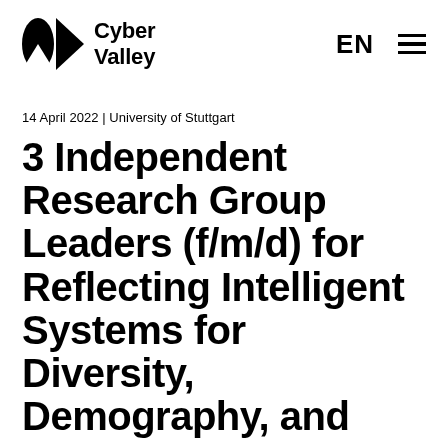[Figure (logo): Cyber Valley logo with geometric icon (black half-circle and triangle) and bold text 'Cyber Valley']
EN ≡
14 April 2022 | University of Stuttgart
3 Independent Research Group Leaders (f/m/d) for Reflecting Intelligent Systems for Diversity, Demography, and